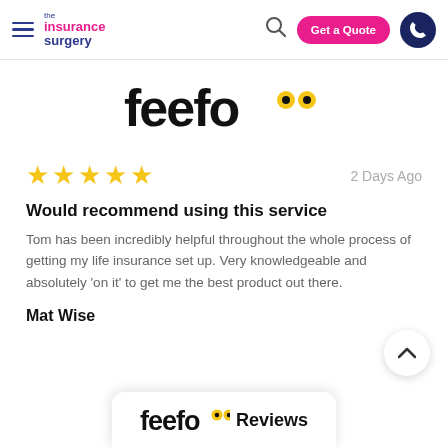the insurance surgery — Get a Quote [nav]
[Figure (logo): Feefo logo with two yellow circle eyes]
2 Days Ago
Would recommend using this service
Tom has been incredibly helpful throughout the whole process of getting my life insurance set up. Very knowledgeable and absolutely 'on it' to get me the best product out there.
Mat Wise
[Figure (logo): Feefo logo with Reviews text in footer widget]